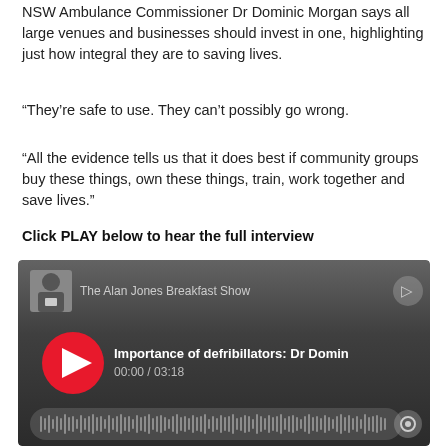NSW Ambulance Commissioner Dr Dominic Morgan says all large venues and businesses should invest in one, highlighting just how integral they are to saving lives.
“They’re safe to use. They can’t possibly go wrong.
“All the evidence tells us that it does best if community groups buy these things, own these things, train, work together and save lives.”
Click PLAY below to hear the full interview
[Figure (screenshot): Audio player widget for 'The Alan Jones Breakfast Show' showing episode 'Importance of defribillators: Dr Domin...' at 00:00 of 03:18 with a red play button and waveform scrubber.]